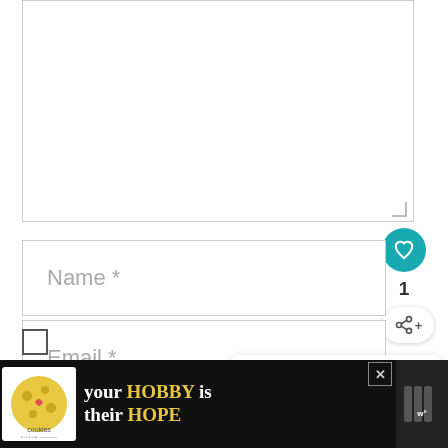[Figure (screenshot): Empty textarea input box with resize handle at bottom right]
[Figure (other): Teal circular like/favorite button with heart icon]
1
[Figure (other): Share button with share icon and plus sign]
Name *
Email *
[Figure (other): What's Next card showing Chicabrava Surf Camp with thumbnail]
Save my name, email, and website in
[Figure (other): Advertisement banner: cookies for kids cancer - your HOBBY is their HOPE]
[Figure (other): Checkbox (empty)]